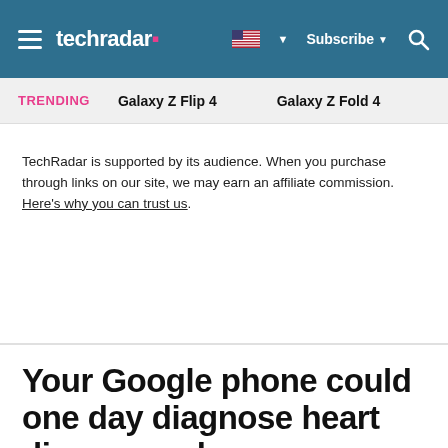techradar | Subscribe | Search
TRENDING   Galaxy Z Flip 4   Galaxy Z Fold 4
TechRadar is supported by its audience. When you purchase through links on our site, we may earn an affiliate commission. Here's why you can trust us.
Your Google phone could one day diagnose heart disease and more